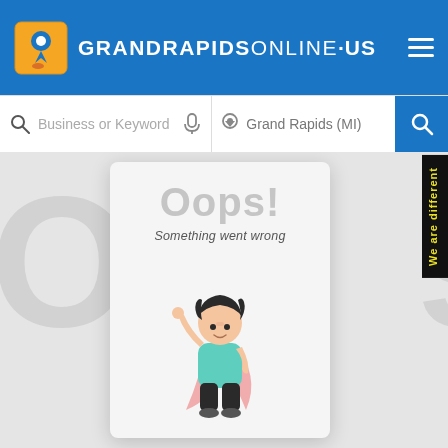GRANDRAPIDSONLINE .US
Business or Keyword
Grand Rapids (MI)
Oops!
Something went wrong
[Figure (illustration): Cartoon child superhero with dark hair, teal shirt, dark pants, and pink cape, raising one arm]
We are different